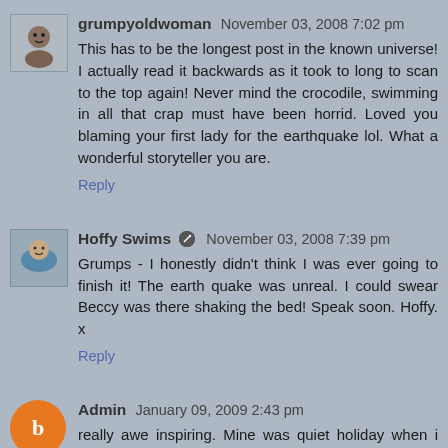grumpyoldwoman November 03, 2008 7:02 pm
This has to be the longest post in the known universe! I actually read it backwards as it took to long to scan to the top again! Never mind the crocodile, swimming in all that crap must have been horrid. Loved you blaming your first lady for the earthquake lol. What a wonderful storyteller you are.
Reply
Hoffy Swims November 03, 2008 7:39 pm
Grumps - I honestly didn't think I was ever going to finish it! The earth quake was unreal. I could swear Beccy was there shaking the bed! Speak soon. Hoffy. x
Reply
Admin January 09, 2009 2:43 pm
really awe inspiring. Mine was quiet holiday when i had taken ferry to France last Christmas